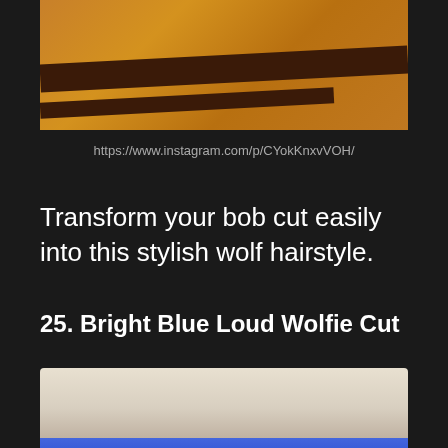[Figure (photo): Partial photo of a person wearing an orange/amber sweater with dark brown stripes, cropped at the top of the page]
https://www.instagram.com/p/CYokKnxvVOH/
Transform your bob cut easily into this stylish wolf hairstyle.
25. Bright Blue Loud Wolfie Cut
[Figure (photo): Photo of a person with a bright blue wolf cut hairstyle with bangs, shown from shoulders up, interior background visible]